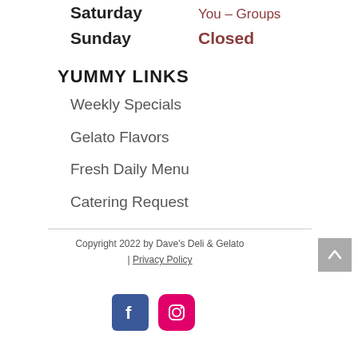| Day | Hours |
| --- | --- |
| Saturday | You – Groups |
| Sunday | Closed |
YUMMY LINKS
Weekly Specials
Gelato Flavors
Fresh Daily Menu
Catering Request
Copyright 2022 by Dave's Deli & Gelato | Privacy Policy
[Figure (logo): Facebook logo icon (blue square with white F)]
[Figure (logo): Instagram logo icon (pink/magenta square with camera outline)]